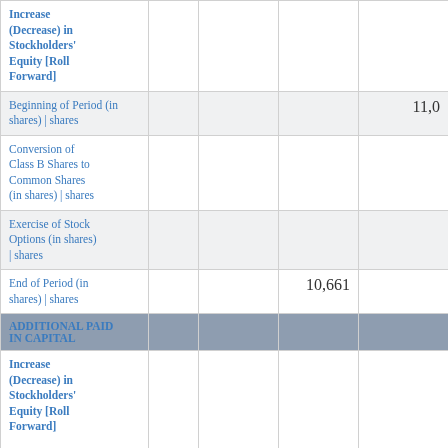|  |  |  |  |  |
| --- | --- | --- | --- | --- |
| Increase (Decrease) in Stockholders' Equity [Roll Forward] |  |  |  |  |
| Beginning of Period (in shares) | shares |  |  |  | 11,0... |
| Conversion of Class B Shares to Common Shares (in shares) | shares |  |  |  |  |
| Exercise of Stock Options (in shares) | shares |  |  |  |  |
| End of Period (in shares) | shares |  |  | 10,661 |  |
| ADDITIONAL PAID IN CAPITAL |  |  |  |  |
| Increase (Decrease) in Stockholders' Equity [Roll Forward] |  |  |  |  |